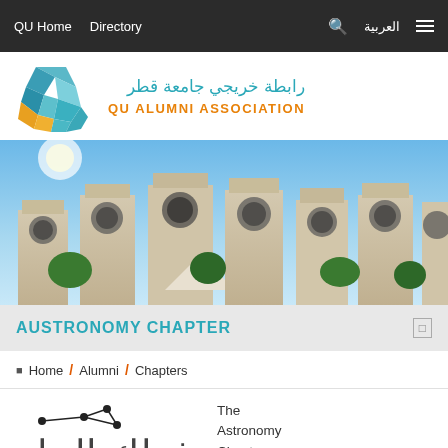QU Home   Directory   العربية
[Figure (logo): QU Alumni Association logo with geometric diamond shape in teal and orange, Arabic text رابطة خريجي جامعة قطر and QU ALUMNI ASSOCIATION]
[Figure (photo): Architectural photo of Qatar University campus buildings with distinctive circular window details against a blue sky with trees]
AUSTRONOMY CHAPTER
Home / Alumni / Chapters
[Figure (illustration): Astronomy constellation graphic with dots and connecting lines above Arabic text]
The Astronomy Chapter